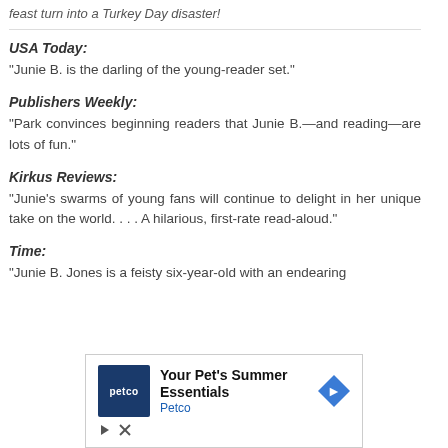feast turn into a Turkey Day disaster!
USA Today:
“Junie B. is the darling of the young-reader set.”
Publishers Weekly:
“Park convinces beginning readers that Junie B.—and reading—are lots of fun.”
Kirkus Reviews:
“Junie’s swarms of young fans will continue to delight in her unique take on the world. . . . A hilarious, first-rate read-aloud.”
Time:
“Junie B. Jones is a feisty six-year-old with an endearing
[Figure (infographic): Petco advertisement: Your Pet's Summer Essentials with Petco logo and blue arrow navigation button, plus close/play controls]